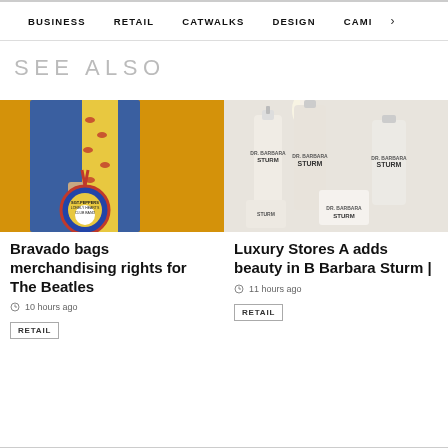BUSINESS   RETAIL   CATWALKS   DESIGN   CAMI >
SEE ALSO
[Figure (photo): Person wearing blue velvet suit and yellow patterned shirt, holding a blue Beatles Sgt. Pepper's Lonely Hearts Club Band backpack, against a yellow background]
Bravado bags merchandising rights for The Beatles
10 hours ago
RETAIL
[Figure (photo): Dr. Barbara Sturm skincare products — several white bottles and jars with STURM branding arranged on a white surface]
Luxury Stores A adds beauty in B Barbara Sturm |
11 hours ago
RETAIL